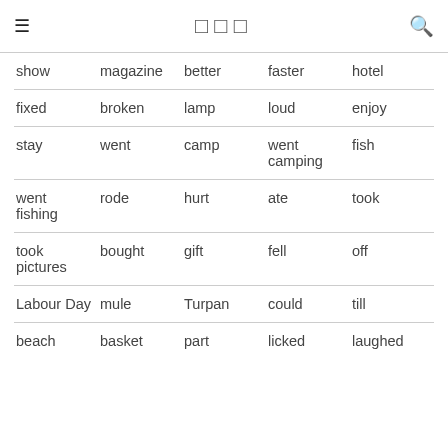≡  □□□  🔍
| show | magazine | better | faster | hotel |
| fixed | broken | lamp | loud | enjoy |
| stay | went | camp | went camping | fish |
| went fishing | rode | hurt | ate | took |
| took pictures | bought | gift | fell | off |
| Labour Day | mule | Turpan | could | till |
| beach | basket | part | licked | laughed |